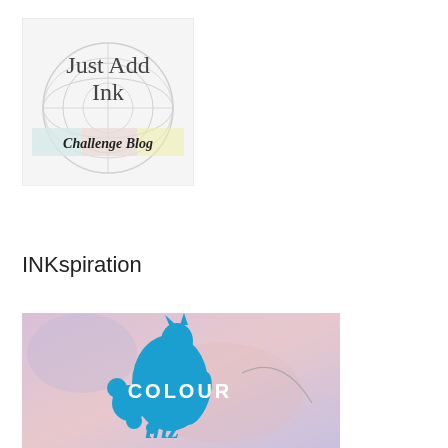[Figure (logo): Just Add Ink Challenge Blog logo — white/grey background with globe watermark, text 'Just Add Ink' in large serif font, pastel yellow/blue/purple ribbon strip, and 'Challenge Blog' in italic script below.]
INKspiration
[Figure (logo): INKspiration / Colour INK logo — pastel pink and purple watercolour background with a bold blue silhouette of a person with ink splatter, text 'COLOUR' in white block letters and 'inz' in blue italic script.]